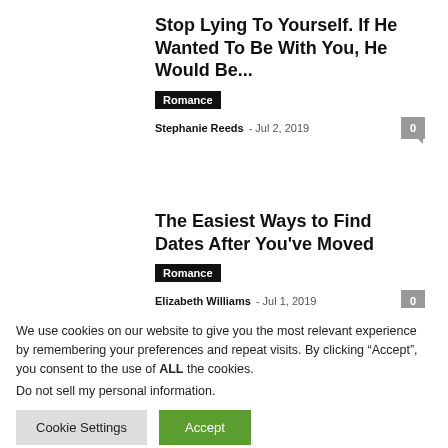Stop Lying To Yourself. If He Wanted To Be With You, He Would Be...
Romance
Stephanie Reeds - Jul 2, 2019  0
The Easiest Ways to Find Dates After You've Moved
Romance
Elizabeth Williams - Jul 1, 2019  0
We use cookies on our website to give you the most relevant experience by remembering your preferences and repeat visits. By clicking “Accept”, you consent to the use of ALL the cookies.
Do not sell my personal information.
Cookie Settings  Accept